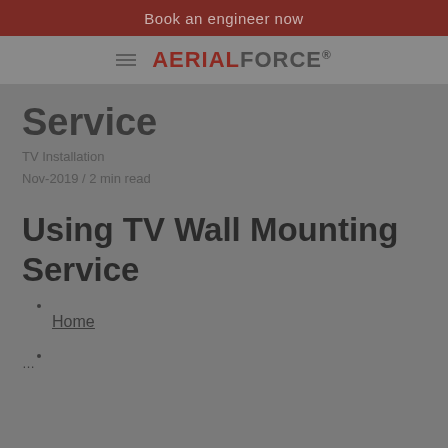Book an engineer now
[Figure (logo): Hamburger menu icon and AERIALFORCE logo/brand name]
Service
TV Installation
Nov-2019 / 2 min read
Using TV Wall Mounting Service
Home
…